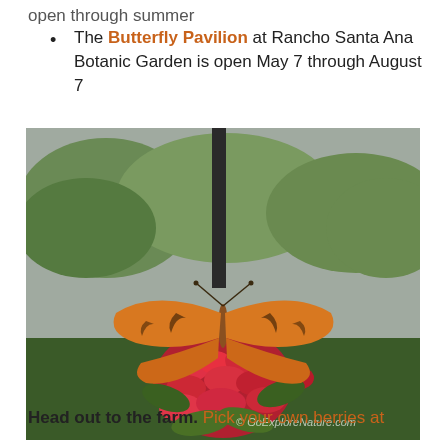The Butterfly Pavilion at Rancho Santa Ana Botanic Garden is open May 7 through August 7
[Figure (photo): An orange butterfly (Julia Heliconian) perched on red star-shaped flowers (pentas) with green garden background and trees. Watermark reads © GoExploreNature.com]
Head out to the farm. Pick your own berries at